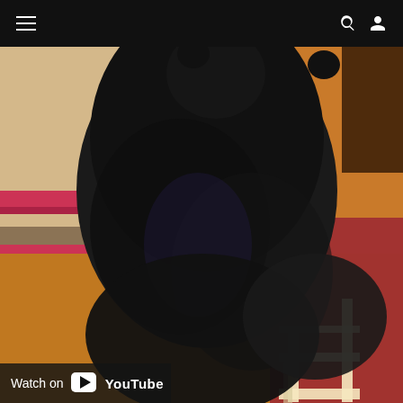Navigation bar with hamburger menu, search icon, and user icon
[Figure (photo): Close-up photo of a large black bear sitting on or near a wooden chair/stool in an indoor setting with warm orange floor and a couch/rug visible in the background. A 'Watch on YouTube' overlay appears at the bottom left.]